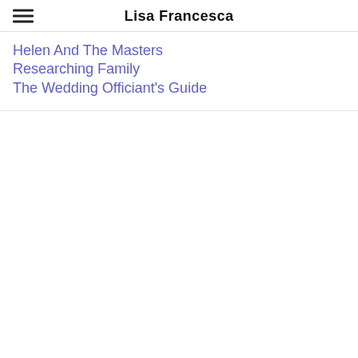Lisa Francesca
Helen And The Masters
Researching Family
The Wedding Officiant's Guide